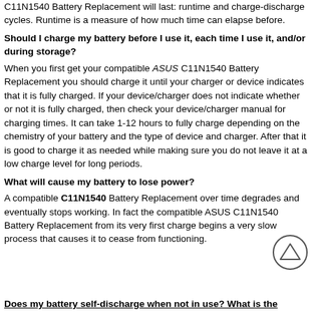C11N1540 Battery Replacement will last: runtime and charge-discharge cycles. Runtime is a measure of how much time can elapse before.
Should I charge my battery before I use it, each time I use it, and/or during storage?
When you first get your compatible ASUS C11N1540 Battery Replacement you should charge it until your charger or device indicates that it is fully charged. If your device/charger does not indicate whether or not it is fully charged, then check your device/charger manual for charging times. It can take 1-12 hours to fully charge depending on the chemistry of your battery and the type of device and charger. After that it is good to charge it as needed while making sure you do not leave it at a low charge level for long periods.
What will cause my battery to lose power?
A compatible C11N1540 Battery Replacement over time degrades and eventually stops working. In fact the compatible ASUS C11N1540 Battery Replacement from its very first charge begins a very slow process that causes it to cease from functioning.
Does my battery self-discharge when not in use? What is the